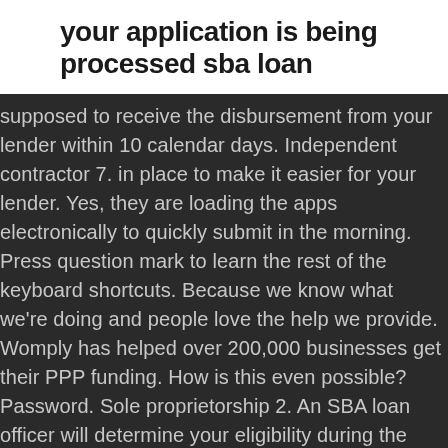your application is being processed sba loan
supposed to receive the disbursement from your lender within 10 calendar days. Independent contractor 7. in place to make it easier for your lender. Yes, they are loading the apps electronically to quickly submit in the morning. Press question mark to learn the rest of the keyboard shortcuts. Because we know what we're doing and people love the help we provide. Womply has helped over 200,000 businesses get their PPP funding. How is this even possible? Password. Sole proprietorship 2. An SBA loan officer will determine your eligibility during the processing of your complete application and review of the documents you â€¦ Applied on Wednesday, got the being processed email Sunday. Since businesses across the country have been scrambling to apply for the latest round of funding, it isn't always completely clear how quickly the complete approval process takes place, since every lender may have slightly different processes. The SBA is